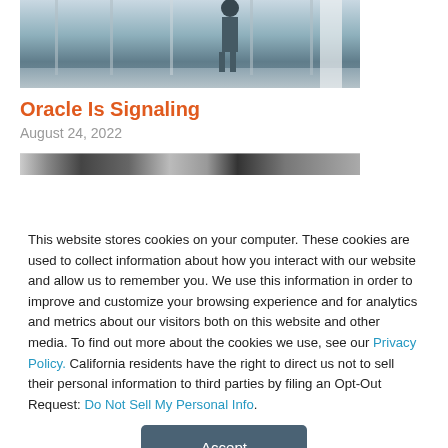[Figure (photo): Partial view of a person standing in a modern office or lobby with large glass windows, city skyline visible in background.]
Oracle Is Signaling
August 24, 2022
[Figure (photo): Partial strip of an interior architectural photo.]
This website stores cookies on your computer. These cookies are used to collect information about how you interact with our website and allow us to remember you. We use this information in order to improve and customize your browsing experience and for analytics and metrics about our visitors both on this website and other media. To find out more about the cookies we use, see our Privacy Policy. California residents have the right to direct us not to sell their personal information to third parties by filing an Opt-Out Request: Do Not Sell My Personal Info.